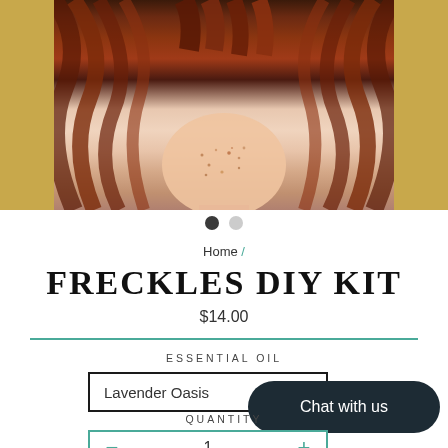[Figure (photo): Close-up photo of a woman with red curly hair and freckles, cropped to show hair and neck/chest area. Gold/yellow background panels flank the central photo.]
● ○
Home /
FRECKLES DIY KIT
$14.00
ESSENTIAL OIL
Lavender Oasis
Chat with us
QUANTITY
- 1 +